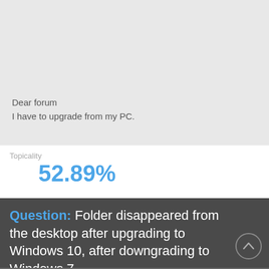[Figure (screenshot): Screenshot of a forum post showing a light grey background content area with text 'Dear forum' and 'I have to upgrade from my PC.']
Topicality
52.89%
Question: Folder disappeared from the desktop after upgrading to Windows 10, after downgrading to Windows 7 ...